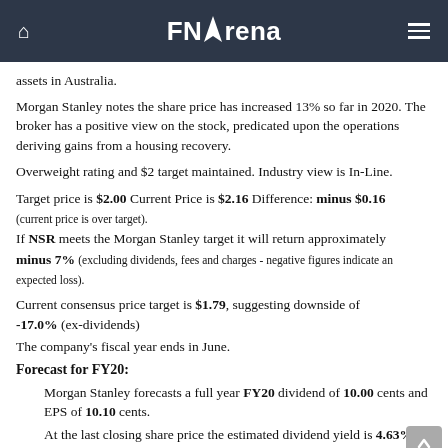FNArena
assets in Australia.
Morgan Stanley notes the share price has increased 13% so far in 2020. The broker has a positive view on the stock, predicated upon the operations deriving gains from a housing recovery.
Overweight rating and $2 target maintained. Industry view is In-Line.
Target price is $2.00 Current Price is $2.16 Difference: minus $0.16 (current price is over target). If NSR meets the Morgan Stanley target it will return approximately minus 7% (excluding dividends, fees and charges - negative figures indicate an expected loss).
Current consensus price target is $1.79, suggesting downside of -17.0% (ex-dividends)
The company's fiscal year ends in June.
Forecast for FY20:
Morgan Stanley forecasts a full year FY20 dividend of 10.00 cents and EPS of 10.10 cents.
At the last closing share price the estimated dividend yield is 4.63%.
At the last closing share price the stock's estimated Price to